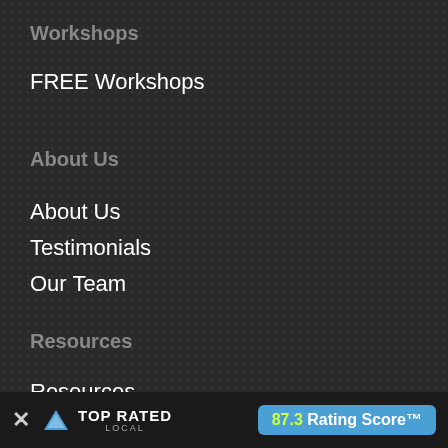Workshops
FREE Workshops
About Us
About Us
Testimonials
Our Team
Resources
Resources
Helpful Links
Videos
Frequently Asked Questions
Blog
[Figure (logo): Top Rated Local badge with 87.3 Rating Score]